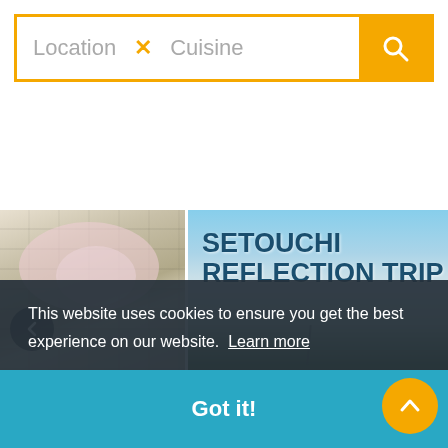[Figure (screenshot): Search bar with Location and Cuisine fields and an orange search button]
[Figure (screenshot): Carousel showing Setouchi Reflection Trip cards: partial cherry blossom/castle left card, main scenic bridge photo card with SETOUCHI REFLECTION TRIP text, Setouchi logo card, and partial right card]
This website uses cookies to ensure you get the best experience on our website. Learn more
Got it!